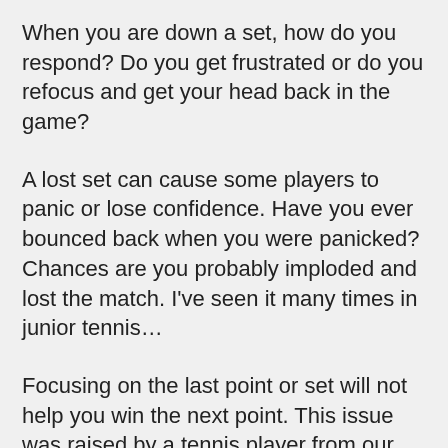When you are down a set, how do you respond? Do you get frustrated or do you refocus and get your head back in the game?
A lost set can cause some players to panic or lose confidence. Have you ever bounced back when you were panicked? Chances are you probably imploded and lost the match. I've seen it many times in junior tennis…
Focusing on the last point or set will not help you win the next point. This issue was raised by a tennis player from our Mental Game of Tennis Needs Survey: